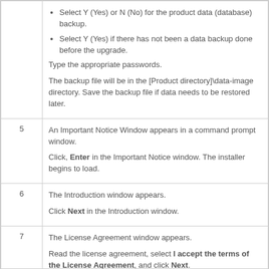Select Y (Yes) or N (No) for the product data (database) backup.
Select Y (Yes) if there has not been a data backup done before the upgrade.
Type the appropriate passwords.
The backup file will be in the [Product directory]\data-image directory. Save the backup file if data needs to be restored later.
5  An Important Notice Window appears in a command prompt window.

Click, Enter in the Important Notice window. The installer begins to load.
6  The Introduction window appears.

Click Next in the Introduction window.
7  The License Agreement window appears.

Read the license agreement, select I accept the terms of the License Agreement, and click Next.